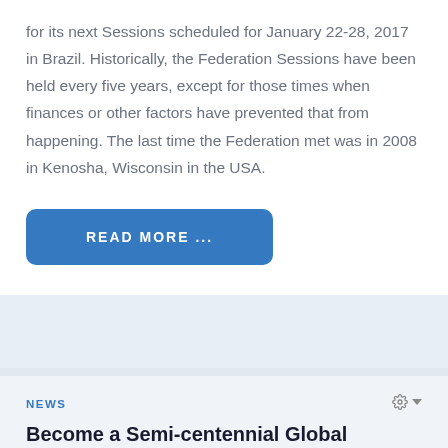for its next Sessions scheduled for January 22-28, 2017 in Brazil. Historically, the Federation Sessions have been held every five years, except for those times when finances or other factors have prevented that from happening. The last time the Federation met was in 2008 in Kenosha, Wisconsin in the USA.
READ MORE ...
NEWS
Become a Semi-centennial Global Partner With the CDD World Federation